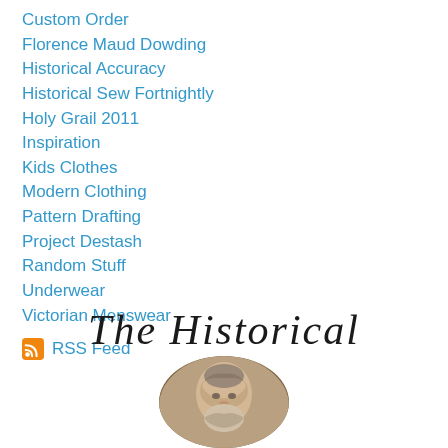Custom Order
Florence Maud Dowding
Historical Accuracy
Historical Sew Fortnightly
Holy Grail 2011
Inspiration
Kids Clothes
Modern Clothing
Pattern Drafting
Project Destash
Random Stuff
Underwear
Victorian Menswear
RSS Feed
[Figure (illustration): Decorative banner showing italic text 'The Historical' with an oval portrait of a historical figure (woman in period dress and bonnet) below.]